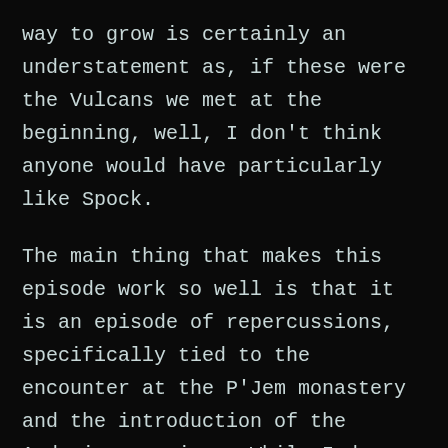way to grow is certainly an understatement as, if these were the Vulcans we met at the beginning, well, I don't think anyone would have particularly like Spock.
The main thing that makes this episode work so well is that it is an episode of repercussions, specifically tied to the encounter at the P'Jem monastery and the introduction of the Andorian species.  While I do enjou a good 'alien of the week' story, I have to say, having episodes that have actual repercussions for choices made really makes for some solid story telling. I